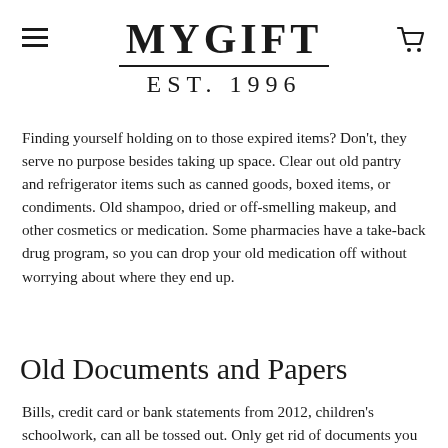MYGIFT EST. 1996
Finding yourself holding on to those expired items? Don't, they serve no purpose besides taking up space. Clear out old pantry and refrigerator items such as canned goods, boxed items, or condiments. Old shampoo, dried or off-smelling makeup, and other cosmetics or medication. Some pharmacies have a take-back drug program, so you can drop your old medication off without worrying about where they end up.
Old Documents and Papers
Bills, credit card or bank statements from 2012, children's schoolwork, can all be tossed out. Only get rid of documents you no longer need, this day and age so many important